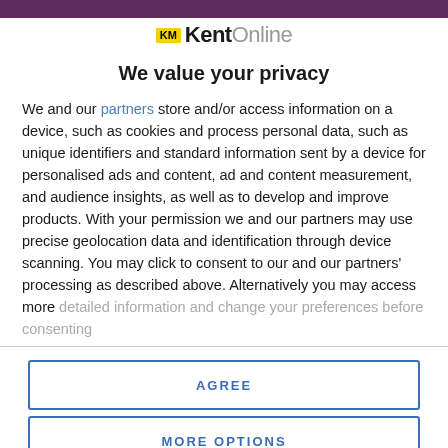[Figure (logo): KM KentOnline logo with yellow KM badge and black/grey Kent Online text]
We value your privacy
We and our partners store and/or access information on a device, such as cookies and process personal data, such as unique identifiers and standard information sent by a device for personalised ads and content, ad and content measurement, and audience insights, as well as to develop and improve products. With your permission we and our partners may use precise geolocation data and identification through device scanning. You may click to consent to our and our partners' processing as described above. Alternatively you may access more detailed information and change your preferences before consenting
AGREE
MORE OPTIONS
of an inside pool and a Bose